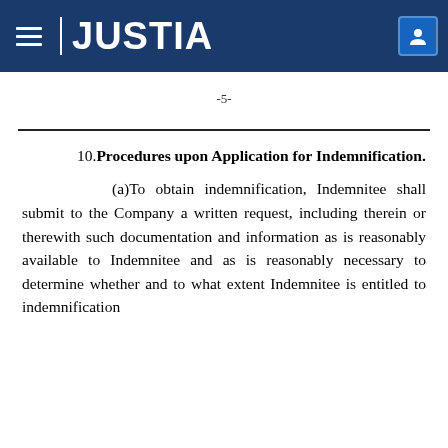JUSTIA
-5-
10. Procedures upon Application for Indemnification.
(a)To obtain indemnification, Indemnitee shall submit to the Company a written request, including therein or therewith such documentation and information as is reasonably available to Indemnitee and as is reasonably necessary to determine whether and to what extent Indemnitee is entitled to indemnification